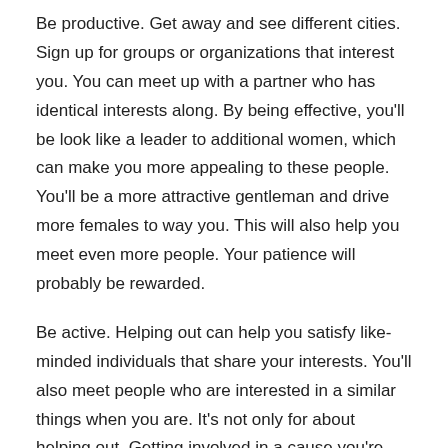Be productive. Get away and see different cities. Sign up for groups or organizations that interest you. You can meet up with a partner who has identical interests along. By being effective, you'll be look like a leader to additional women, which can make you more appealing to these people. You'll be a more attractive gentleman and drive more females to way you. This will also help you meet even more people. Your patience will probably be rewarded.
Be active. Helping out can help you satisfy like-minded individuals that share your interests. You'll also meet people who are interested in a similar things when you are. It's not only for about helping out. Getting involved in a cause you're here passionate about will attract a wife who shares your passions. You'll also meet up with women who share common interests and interests. It's the perfect a chance to always be an active and engaged man.